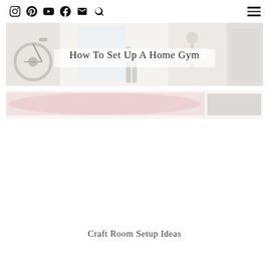Social media icons: Instagram, Pinterest, YouTube, Facebook, Email, Search; Hamburger menu
[Figure (photo): Composite hero image showing home gym equipment: exercise bike, weights, treadmill area with pink mat and grey block]
How To Set Up A Home Gym
Craft Room Setup Ideas